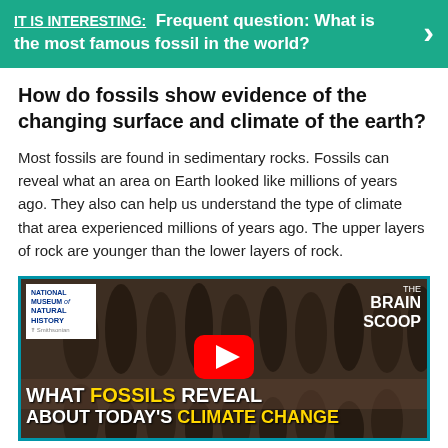IT IS INTERESTING: Frequent question: What is the most famous fossil in the world?
How do fossils show evidence of the changing surface and climate of the earth?
Most fossils are found in sedimentary rocks. Fossils can reveal what an area on Earth looked like millions of years ago. They also can help us understand the type of climate that area experienced millions of years ago. The upper layers of rock are younger than the lower layers of rock.
[Figure (screenshot): YouTube video thumbnail showing fossil teeth close-up with text 'WHAT FOSSILS REVEAL ABOUT TODAY'S CLIMATE CHANGE' from National Museum of Natural History - The Brain Scoop series, with YouTube play button overlay.]